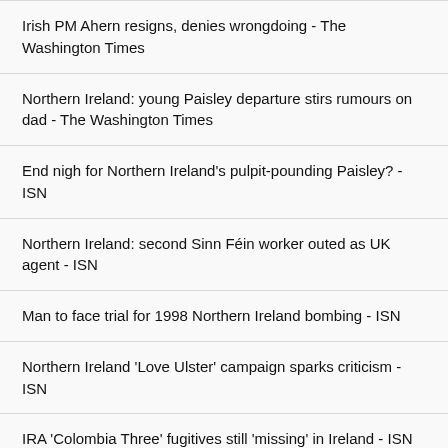Irish PM Ahern resigns, denies wrongdoing - The Washington Times
Northern Ireland: young Paisley departure stirs rumours on dad - The Washington Times
End nigh for Northern Ireland's pulpit-pounding Paisley? - ISN
Northern Ireland: second Sinn Féin worker outed as UK agent - ISN
Man to face trial for 1998 Northern Ireland bombing - ISN
Northern Ireland 'Love Ulster' campaign sparks criticism - ISN
IRA 'Colombia Three' fugitives still 'missing' in Ireland - ISN